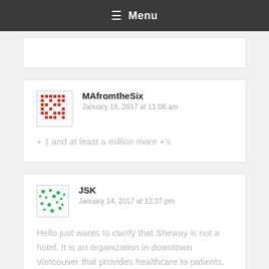≡ Menu
[partial comment card at top]
MAfromtheSix
January 16, 2017 at 11:06 am
+ 1 and at least a million more +'s
JSK
January 14, 2017 at 12:37 pm
Hello just wants to clarify that Sheway is not a hotel. It is an organization in downtown Vancouver that provides healthcare to patients. Also I'm a little surprised at some of